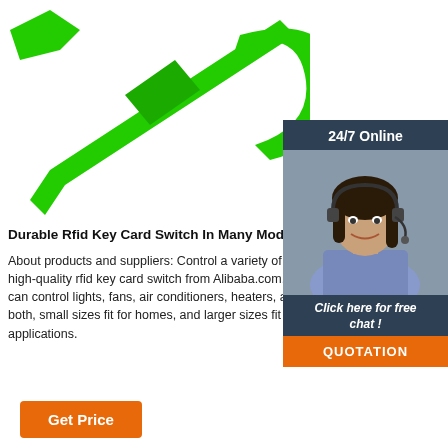[Figure (photo): Green plastic cable tie / rfid key card security seal on white background]
[Figure (photo): 24/7 Online customer service chat widget with woman wearing headset, dark navy background, 'Click here for free chat!' and orange QUOTATION button]
Durable Rfid Key Card Switch In Many Modular Des...
About products and suppliers: Control a variety of electrical appliances with high-quality rfid key card switch from Alibaba.com. These rfid key card switch can control lights, fans, air conditioners, heaters, and so on. They come in both, small sizes fit for homes, and larger sizes fit for more commercial applications.
[Figure (logo): Orange TOP badge with decorative dots]
Get Price